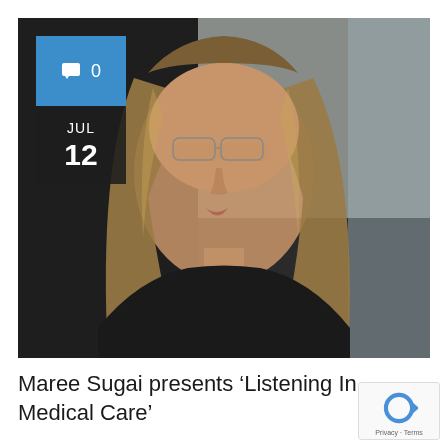[Figure (photo): Photograph of Maree Sugai, a woman with long blonde-brown hair wearing glasses and a dark top, shown from the shoulders up against a dark background. Overlaid with a blue comment badge showing '0' and a dark date badge showing 'JUL 12'.]
Maree Sugai presents ‘Listening In Medical Care’
[Figure (logo): reCAPTCHA badge with blue circular arrow logo and 'Privacy · Terms' text]